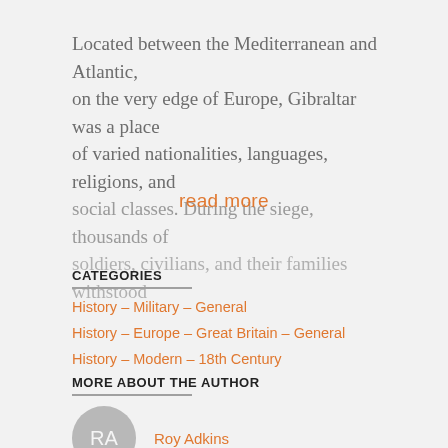Located between the Mediterranean and Atlantic, on the very edge of Europe, Gibraltar was a place of varied nationalities, languages, religions, and social classes. During the siege, thousands of soldiers, civilians, and their families withstood
read more
CATEGORIES
History - Military - General
History - Europe - Great Britain - General
History - Modern - 18th Century
MORE ABOUT THE AUTHOR
Roy Adkins